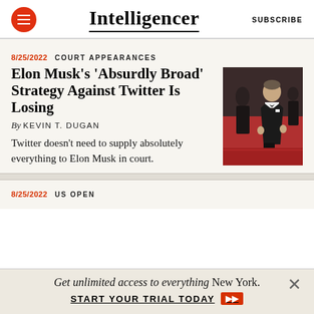Intelligencer | SUBSCRIBE
8/25/2022  COURT APPEARANCES
Elon Musk's 'Absurdly Broad' Strategy Against Twitter Is Losing
By KEVIN T. DUGAN
Twitter doesn't need to supply absolutely everything to Elon Musk in court.
[Figure (photo): Photo of Elon Musk in a tuxedo on a red carpet event]
8/25/2022  US OPEN
Get unlimited access to everything New York. START YOUR TRIAL TODAY →